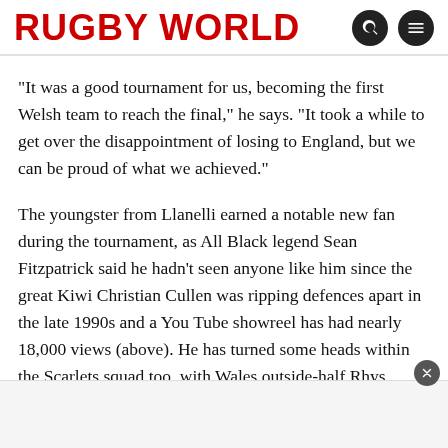RUGBY WORLD
“It was a good tournament for us, becoming the first Welsh team to reach the final,” he says. “It took a while to get over the disappointment of losing to England, but we can be proud of what we achieved.”
The youngster from Llanelli earned a notable new fan during the tournament, as All Black legend Sean Fitzpatrick said he hadn’t seen anyone like him since the great Kiwi Christian Cullen was ripping defences apart in the late 1990s and a You Tube showreel has had nearly 18,000 views (above). He has turned some heads within the Scarlets squad too, with Wales outside-half Rhys Priestland describing him